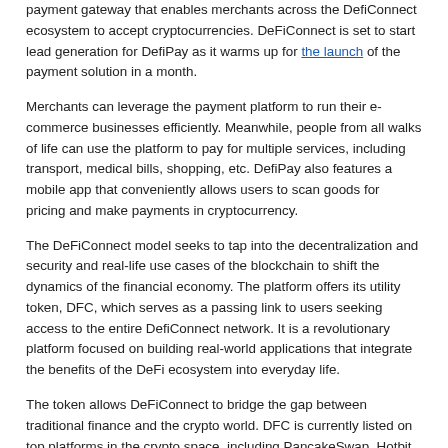payment gateway that enables merchants across the DefiConnect ecosystem to accept cryptocurrencies. DeFiConnect is set to start lead generation for DefiPay as it warms up for the launch of the payment solution in a month.
Merchants can leverage the payment platform to run their e-commerce businesses efficiently. Meanwhile, people from all walks of life can use the platform to pay for multiple services, including transport, medical bills, shopping, etc. DefiPay also features a mobile app that conveniently allows users to scan goods for pricing and make payments in cryptocurrency.
The DeFiConnect model seeks to tap into the decentralization and security and real-life use cases of the blockchain to shift the dynamics of the financial economy. The platform offers its utility token, DFC, which serves as a passing link to users seeking access to the entire DefiConnect network. It is a revolutionary platform focused on building real-world applications that integrate the benefits of the DeFi ecosystem into everyday life.
The token allows DeFiConnect to bridge the gap between traditional finance and the crypto world. DFC is currently listed on top platforms in the crypto space, including PancakeSwap, Hotbit and CoinMarketCap.